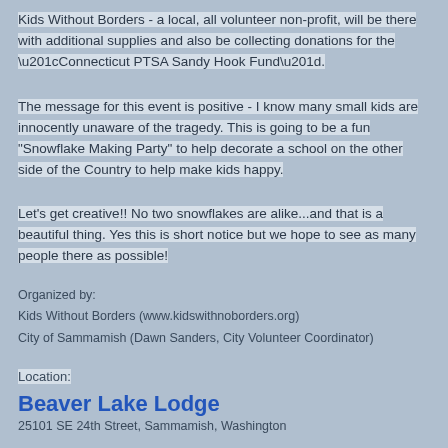Kids Without Borders - a local, all volunteer non-profit, will be there with additional supplies and also be collecting donations for the “Connecticut PTSA Sandy Hook Fund”.
The message for this event is positive - I know many small kids are innocently unaware of the tragedy. This is going to be a fun "Snowflake Making Party" to help decorate a school on the other side of the Country to help make kids happy.
Let’s get creative!! No two snowflakes are alike…and that is a beautiful thing. Yes this is short notice but we hope to see as many people there as possible!
Organized by:
Kids Without Borders (www.kidswithnoborders.org)
City of Sammamish (Dawn Sanders, City Volunteer Coordinator)
Location:
Beaver Lake Lodge
25101 SE 24th Street, Sammamish, Washington